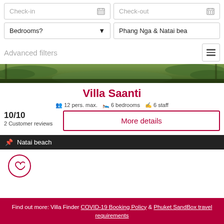Check-in
Check-out
Bedrooms?
Phang Nga & Natai bea
Advanced filters
[Figure (screenshot): Green tropical palm trees hero/banner image]
Villa Saanti
12 pers. max.   6 bedrooms   6 staff
10/10
2 Customer reviews
More details
Natai beach
from SGD 1,834 per night  Discount -15%
Find out more: Villa Finder COVID-19 Booking Policy & Phuket SandBox travel requirements